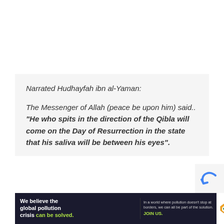Narrated Hudhayfah ibn al-Yaman:
The Messenger of Allah (peace be upon him) said.. “He who spits in the direction of the Qibla will come on the Day of Resurrection in the state that his saliva will be between his eyes”.
[Figure (other): Advertisement banner for Pure Earth organization. Left dark section reads 'We believe the global pollution crisis can be solved.' Middle section reads 'In a world where pollution doesn't stop at borders, we can all be part of the solution. JOIN US.' Right white section shows the Pure Earth logo with a diamond/arrow icon.]